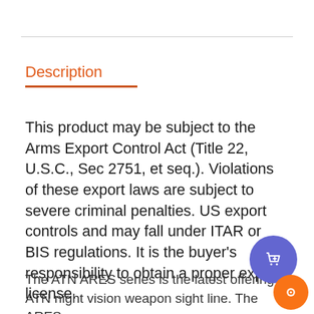Description
This product may be subject to the Arms Export Control Act (Title 22, U.S.C., Sec 2751, et seq.). Violations of these export laws are subject to severe criminal penalties. US export controls and may fall under ITAR or BIS regulations. It is the buyer's responsibility to obtain a proper export license.
The ATN ARES series is the latest offering in ATN night vision weapon sight line. The ARES